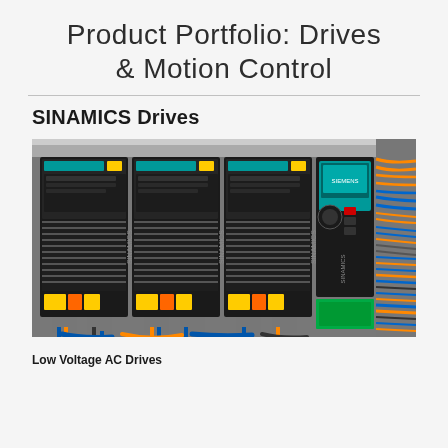Product Portfolio: Drives & Motion Control
SINAMICS Drives
[Figure (photo): Photograph of SINAMICS drives installed in a control cabinet, showing multiple black drive units with Siemens branding, teal/blue indicator displays, warning labels, and colorful wiring (blue, orange) on the right side.]
Low Voltage AC Drives